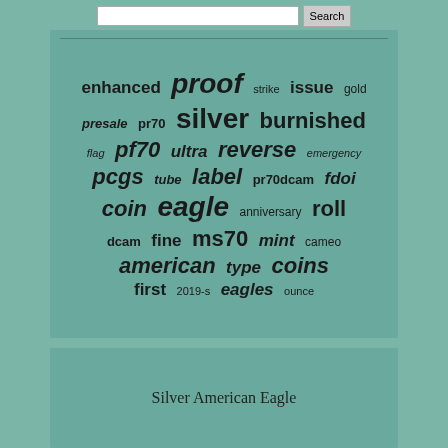[Figure (infographic): Word cloud of coin/numismatic search terms on a teal background. Words include: proof (largest), silver, eagle, coin, american, reverse, pcgs, label, ms70, coins, eagles, burnished, roll, first, presale, pr70, pf70, ultra, fine, mint, type, enhanced, issue, gold, strike, flag, emergency, tube, pr70dcam, fdoi, anniversary, dcam, cameo, 2019-s, ounce]
Silver American Eagle